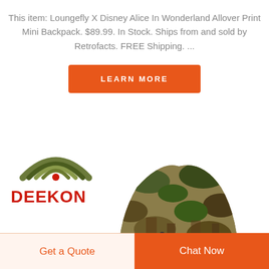This item: Loungefly X Disney Alice In Wonderland Allover Print Mini Backpack. $89.99. In Stock. Ships from and sold by Retrofacts. FREE Shipping. ...
[Figure (other): Orange 'LEARN MORE' button with white uppercase text]
[Figure (logo): DEEKON logo with olive/camo arc graphic above red bold DEEKON text]
[Figure (photo): Camouflage pop-up tent with forest/camo pattern, dome shaped]
[Figure (other): Bottom bar with two buttons: 'Get a Quote' (light orange background, orange text) and 'Chat Now' (solid orange background, white text)]